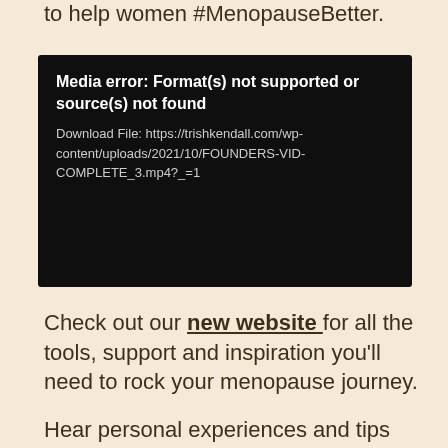to help women #MenopauseBetter.
[Figure (screenshot): Video player error message on dark background reading: 'Media error: Format(s) not supported or source(s) not found' with download link: https://trishkendall.com/wp-content/uploads/2021/10/FOUNDERS-VID-COMPLETE_3.mp4?_=1]
Check out our new website for all the tools, support and inspiration you'll need to rock your menopause journey.
Hear personal experiences and tips from leading